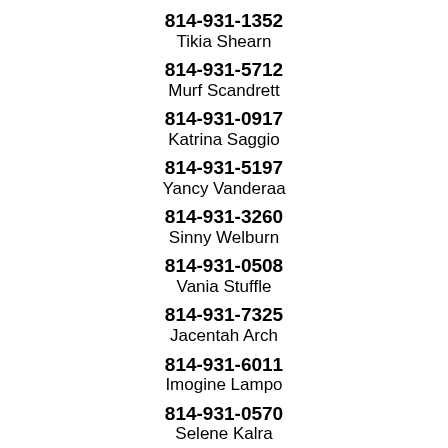814-931-1352
Tikia Shearn
814-931-5712
Murf Scandrett
814-931-0917
Katrina Saggio
814-931-5197
Yancy Vanderaa
814-931-3260
Sinny Welburn
814-931-0508
Vania Stuffle
814-931-7325
Jacentah Arch
814-931-6011
Imogine Lampo
814-931-0570
Selene Kalra